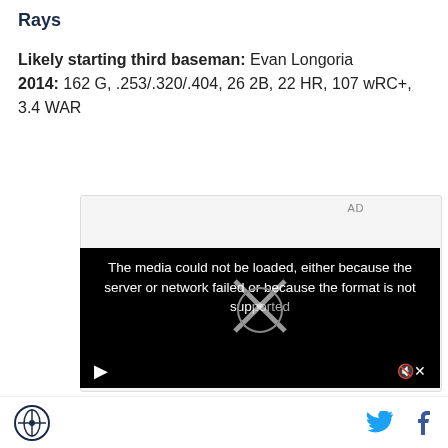Rays
Likely starting third baseman: Evan Longoria
2014: 162 G, .253/.320/.404, 26 2B, 22 HR, 107 wRC+, 3.4 WAR
[Figure (screenshot): Advertisement area with gray background and AD label, followed by a black video player showing error message: 'The media could not be loaded, either because the server or network failed or because the format is not supported.' with play and mute controls visible.]
Site logo icon, Twitter bird icon, Facebook f icon